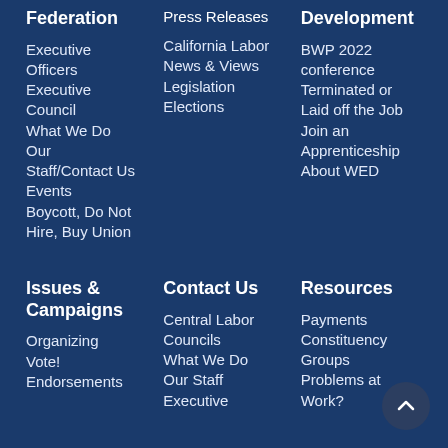Federation
Executive Officers
Executive Council
What We Do
Our Staff/Contact Us
Events
Boycott, Do Not Hire, Buy Union
Press Releases
California Labor News & Views
Legislation
Elections
Development
BWP 2022 conference
Terminated or Laid off the Job
Join an Apprenticeship
About WED
Issues & Campaigns
Organizing
Vote!
Endorsements
Contact Us
Central Labor Councils
What We Do
Our Staff
Executive
Resources
Payments
Constituency Groups
Problems at Work?